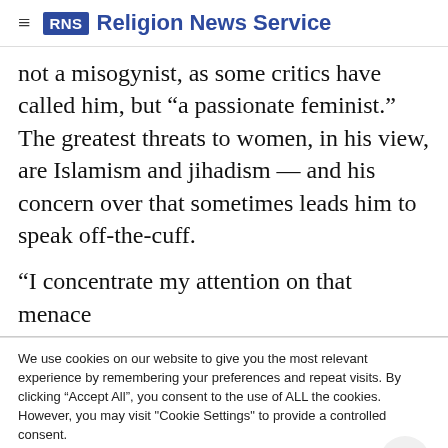RNS Religion News Service
not a misogynist, as some critics have called him, but “a passionate feminist.” The greatest threats to women, in his view, are Islamism and jihadism — and his concern over that sometimes leads him to speak off-the-cuff.
“I concentrate my attention on that menace
We use cookies on our website to give you the most relevant experience by remembering your preferences and repeat visits. By clicking “Accept All”, you consent to the use of ALL the cookies. However, you may visit "Cookie Settings" to provide a controlled consent.